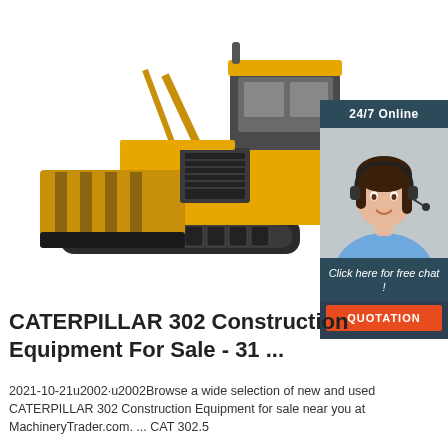[Figure (photo): Yellow Caterpillar bulldozer/crawler with blade on white background, shown at an angle]
[Figure (infographic): 24/7 Online chat widget with a woman wearing a headset, 'Click here for free chat!' text, and an orange QUOTATION button]
CATERPILLAR 302 Construction Equipment For Sale - 31 ...
2021-10-21u2002·u2002Browse a wide selection of new and used CATERPILLAR 302 Construction Equipment for sale near you at MachineryTrader.com. ... CAT 302.5